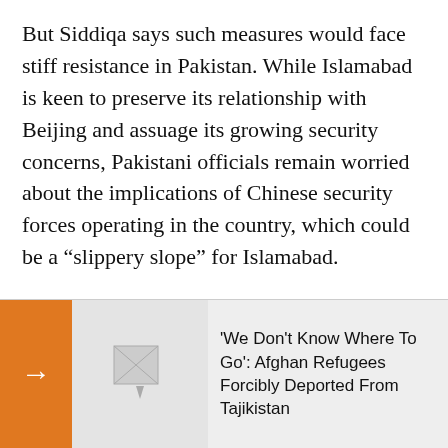But Siddiqa says such measures would face stiff resistance in Pakistan. While Islamabad is keen to preserve its relationship with Beijing and assuage its growing security concerns, Pakistani officials remain worried about the implications of Chinese security forces operating in the country, which could be a “slippery slope” for Islamabad.
“There will be more pressure on Pakistan to protect the Chinese and maybe let the Chinese take care of their own security,” said Siddiqa. “But Pakistan absolutely does not want this. They do not want Chinese boots on the ground.”
[Figure (other): Related article navigation element with orange arrow button and broken image thumbnail]
'We Don't Know Where To Go': Afghan Refugees Forcibly Deported From Tajikistan